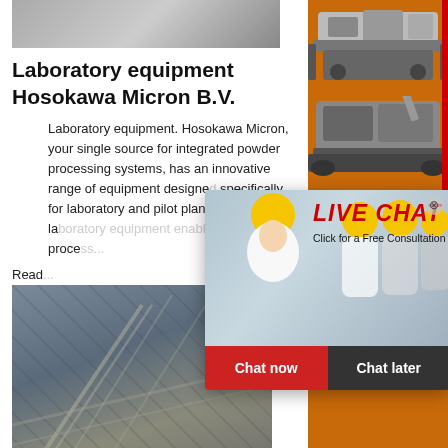[Figure (photo): Top photograph of industrial/construction site, partially visible at top of page]
Laboratory equipment Hosokawa Micron B.V.
Laboratory equipment. Hosokawa Micron, your single source for integrated powder processing systems, has an innovative range of equipment designed specifically for laboratory and pilot plant applications. Our laboratory equipment enables you and process...
Read...
[Figure (photo): Photograph of industrial construction machinery/conveyor structure at a mining or processing site]
Laboratory Ball Mill - Changsha Tianchuang Powder ...
[Figure (photo): Right sidebar: orange background with industrial crushing/grinding machinery images]
[Figure (screenshot): Live chat overlay popup with workers in yellow hard hats, LIVE CHAT text in red, Click for a Free Consultation subtitle, Chat now and Chat later buttons]
Enjoy 3% discount
Click to Chat
Enquiry
limingjlmofen@sina.com